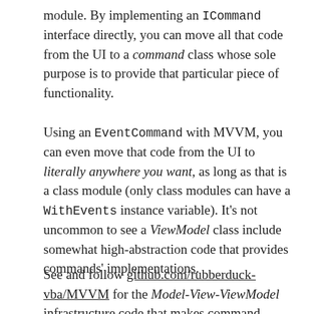module. By implementing an ICommand interface directly, you can move all that code from the UI to a command class whose sole purpose is to provide that particular piece of functionality.
Using an EventCommand with MVVM, you can even move that code from the UI to literally anywhere you want, as long as that is a class module (only class modules can have a WithEvents instance variable). It's not uncommon to see a ViewModel class include somewhat high-abstraction code that provides commands' implementations.
See and follow github.com/rubberduck-vba/MVVM for the Model-View-ViewModel infrastructure code that makes command bindings a thing in VBA, as